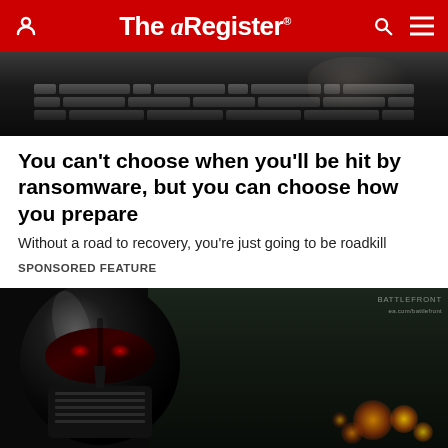The Register
[Figure (photo): Close-up of hands on a keyboard in dark lighting, top portion of article hero image]
You can't choose when you'll be hit by ransomware, but you can choose how you prepare
Without a road to recovery, you're just going to be roadkill
SPONSORED FEATURE
[Figure (photo): Darth Vader helmet close-up with red eye glow against a dark forest background with fire/explosions, from Star Wars Battlefront promotional image. Watermark text reads BATTLEFRONT in top right corner.]